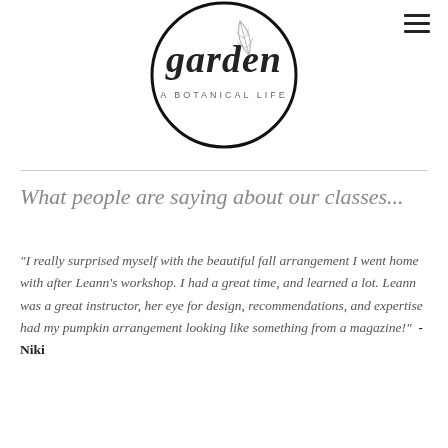[Figure (logo): Garden - A Botanical Life circular logo with script text 'garden' and subtitle 'A BOTANICAL LIFE' with a botanical leaf illustration inside a circle]
What people are saying about our classes...
"I really surprised myself with the beautiful fall arrangement I went home with after Leann's workshop. I had a great time, and learned a lot. Leann was a great instructor, her eye for design, recommendations, and expertise had my pumpkin arrangement looking like something from a magazine!"  - Niki